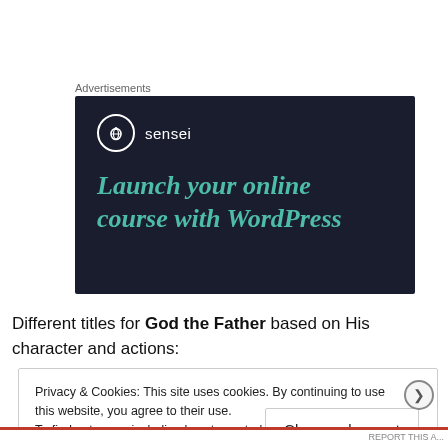Advertisements
[Figure (illustration): Sensei advertisement banner with dark background showing logo and text: Launch your online course with WordPress]
Different titles for God the Father based on His character and actions:
Privacy & Cookies: This site uses cookies. By continuing to use this website, you agree to their use.
To find out more, including how to control cookies, see here: Cookie Policy
Close and accept